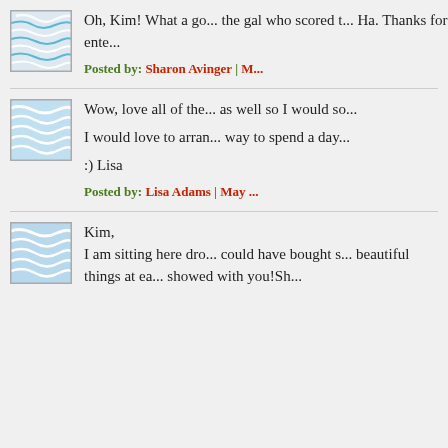[Figure (illustration): Avatar/profile image with wave pattern in blue and white, square with border]
Oh, Kim! What a go... the gal who scored t... Ha. Thanks for ente...
Posted by: Sharon Avinger | M...
[Figure (illustration): Avatar/profile image with wave pattern in blue and white, square with border]
Wow, love all of the... as well so I would so...

I would love to arran... way to spend a day...

:) Lisa
Posted by: Lisa Adams | May ...
[Figure (illustration): Avatar/profile image with wave pattern in blue and white, square with border]
Kim,
I am sitting here dro... could have bought s... beautiful things at ea... showed with you!Sh...